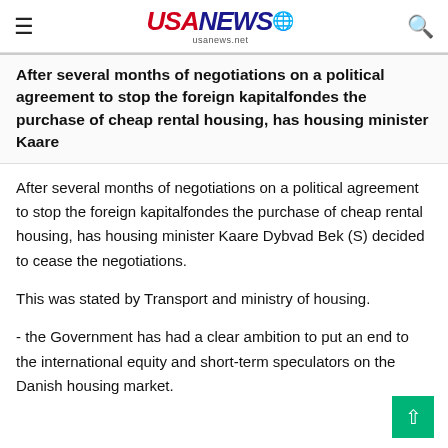≡  USANEWS🌐  usanews.net  🔍
After several months of negotiations on a political agreement to stop the foreign kapitalfondes the purchase of cheap rental housing, has housing minister Kaare
After several months of negotiations on a political agreement to stop the foreign kapitalfondes the purchase of cheap rental housing, has housing minister Kaare Dybvad Bek (S) decided to cease the negotiations.
This was stated by Transport and ministry of housing.
- the Government has had a clear ambition to put an end to the international equity and short-term speculators on the Danish housing market.